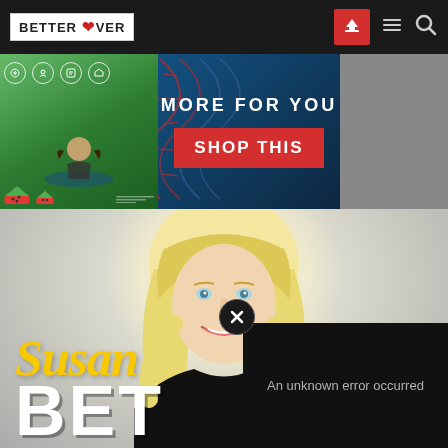BETTER LOVER
[Figure (screenshot): Advertisement banner showing a product image with watermelon and nature imagery on the left, blue DNA-strand background in center, text 'MORE FOR YOU' and red 'SHOP THIS' button]
[Figure (photo): Photo of smiling blonde woman against gray background, with yellow italic 'Susan' text overlay and large white bold 'BET' text at bottom, plus a black error popup overlay reading 'An unknown error occurred' with a close (X) button]
An unknown error occurred